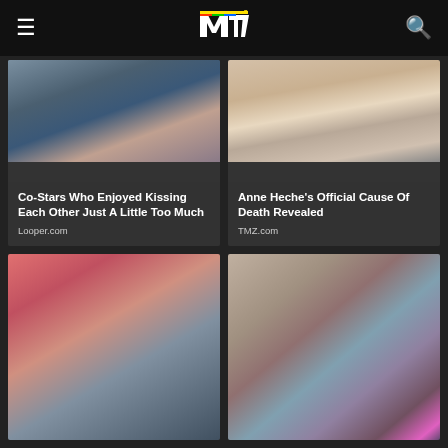MTV
[Figure (photo): Close-up of two people kissing, faces close together]
Co-Stars Who Enjoyed Kissing Each Other Just A Little Too Much
Looper.com
[Figure (photo): Blonde woman smiling, wearing earrings]
Anne Heche's Official Cause Of Death Revealed
TMZ.com
[Figure (photo): Two people kissing, one wearing a pink baseball cap]
[Figure (photo): Man with dramatic blue glitter eye makeup and earring]